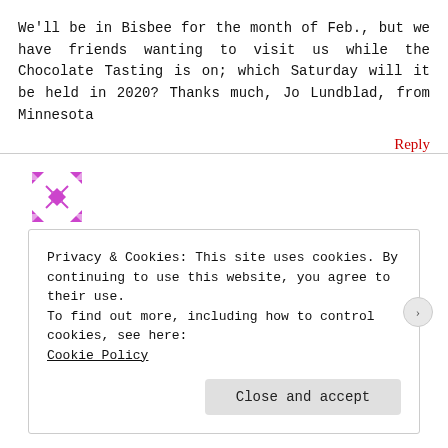We'll be in Bisbee for the month of Feb., but we have friends wanting to visit us while the Chocolate Tasting is on; which Saturday will it be held in 2020? Thanks much, Jo Lundblad, from Minnesota
Reply
[Figure (illustration): Decorative geometric avatar icon with pink/magenta diamond cross pattern on white background]
cclifto2bisbee
December 28, 2019
Privacy & Cookies: This site uses cookies. By continuing to use this website, you agree to their use.
To find out more, including how to control cookies, see here:
Cookie Policy
Close and accept